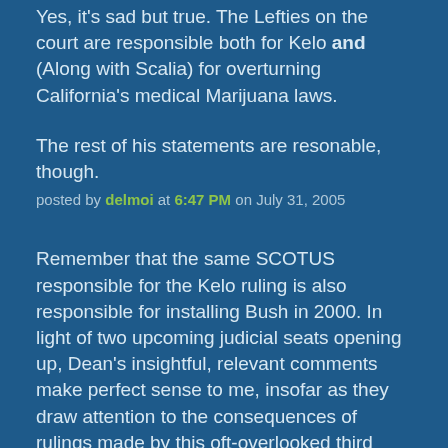Yes, it's sad but true. The Lefties on the court are responsible both for Kelo and (Along with Scalia) for overturning California's medical Marijuana laws.
The rest of his statements are resonable, though.
posted by delmoi at 6:47 PM on July 31, 2005
Remember that the same SCOTUS responsible for the Kelo ruling is also responsible for installing Bush in 2000. In light of two upcoming judicial seats opening up, Dean's insightful, relevant comments make perfect sense to me, insofar as they draw attention to the consequences of rulings made by this oft-overlooked third wing of government.
posted by Rothko at 6:48 PM on July 31, 2005
I wonder how Roberts feels about Kelo and, um, that other